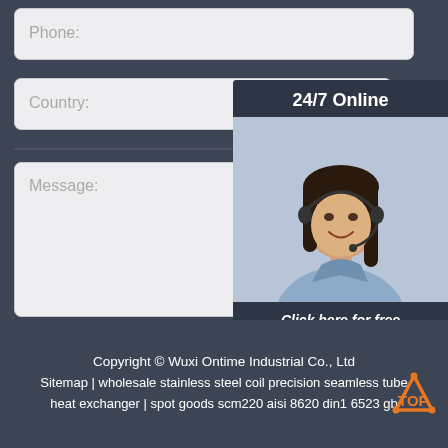Phone:
Country:
Message:
24/7 Online
[Figure (photo): Customer service representative woman with headset smiling]
Click here for free chat !
QUOTATION
Submit Now
Copyright © Wuxi Ontime Industrial Co., Ltd
Sitemap | wholesale stainless steel coil precision seamless tube heat exchanger | spot goods scm220 aisi 8620 din1 6523 gb